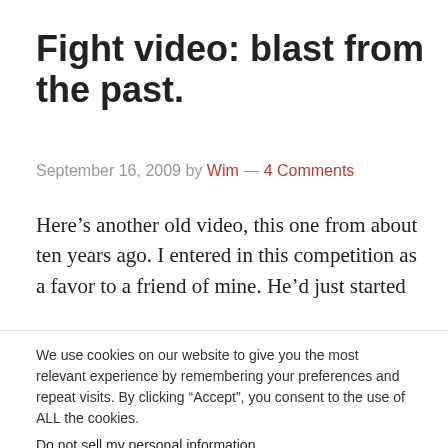Fight video: blast from the past.
September 16, 2009 by Wim — 4 Comments
Here’s another old video, this one from about ten years ago. I entered in this competition as a favor to a friend of mine. He’d just started
We use cookies on our website to give you the most relevant experience by remembering your preferences and repeat visits. By clicking “Accept”, you consent to the use of ALL the cookies.
Do not sell my personal information.